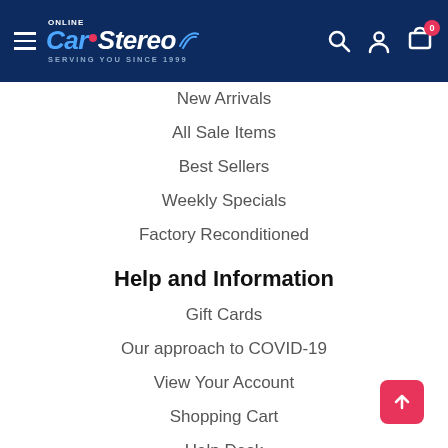[Figure (logo): Online Car Stereo logo with navigation header on dark blue background, includes hamburger menu, search, account, and cart icons]
New Arrivals
All Sale Items
Best Sellers
Weekly Specials
Factory Reconditioned
Help and Information
Gift Cards
Our approach to COVID-19
View Your Account
Shopping Cart
Help Desk
Company Info